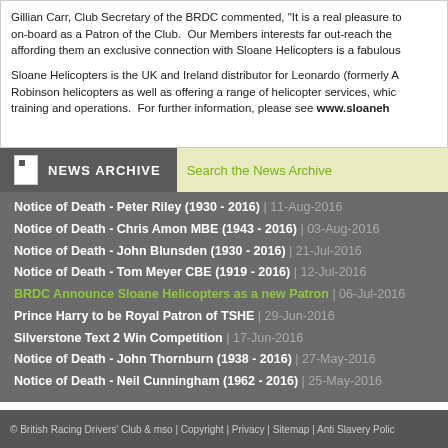Gillian Carr, Club Secretary of the BRDC commented, "It is a real pleasure to have on-board as a Patron of the Club.  Our Members interests far out-reach the affording them an exclusive connection with Sloane Helicopters is a fabulous
Sloane Helicopters is the UK and Ireland distributor for Leonardo (formerly A Robinson helicopters as well as offering a range of helicopter services, whic training and operations.  For further information, please see www.sloaneh
NEWS ARCHIVE
Search the News Archive
Notice of Death - Peter Riley (1930 - 2016) | 11-Aug-2016
Notice of Death - Chris Amon MBE (1943 - 2016) | 03-Aug-2016
Notice of Death - John Blunsden (1930 - 2016) | 21-Jul-2016
Notice of Death - Tom Meyer CBE (1919 - 2016) | 12-Jul-2016
BRDC Announce Sloane Helicopters as a new Patron | 06-Jul-2016
Prince Harry to be Royal Patron of TSHE | 29-Jun-2016
Silverstone Text 2 Win Competition | 17-Jun-2016
Notice of Death - John Thornburn (1938 - 2016) | 27-May-2016
Notice of Death - Neil Cunningham (1962 - 2016) | 25-May-2016
© British Racing Drivers' Club & mso | Copyright | Privacy | Sitemap | Anti Slavery Polic